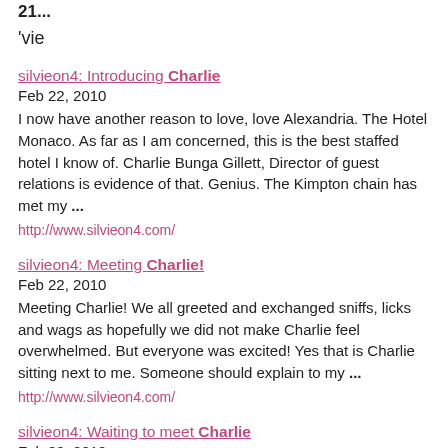21...
'vie
silvieon4: Introducing Charlie
Feb 22, 2010
I now have another reason to love, love Alexandria. The Hotel Monaco. As far as I am concerned, this is the best staffed hotel I know of. Charlie Bunga Gillett, Director of guest relations is evidence of that. Genius. The Kimpton chain has met my ...
http://www.silvieon4.com/
silvieon4: Meeting Charlie!
Feb 22, 2010
Meeting Charlie! We all greeted and exchanged sniffs, licks and wags as hopefully we did not make Charlie feel overwhelmed. But everyone was excited! Yes that is Charlie sitting next to me. Someone should explain to my ...
http://www.silvieon4.com/
silvieon4: Waiting to meet Charlie
Feb 22, 2010
We arranged our first meeting with Charlie in the Hotel Monaco ...